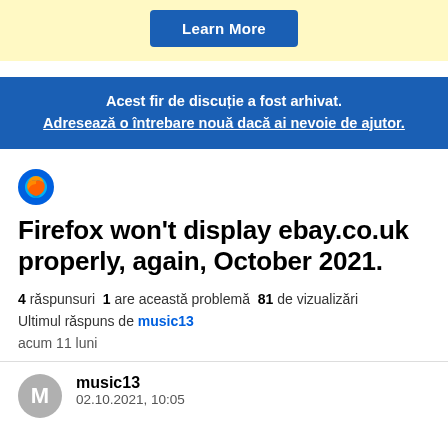[Figure (other): Yellow banner with a blue 'Learn More' button]
Acest fir de discuție a fost arhivat. Adresează o întrebare nouă dacă ai nevoie de ajutor.
[Figure (logo): Firefox logo (orange/red flame around blue globe)]
Firefox won't display ebay.co.uk properly, again, October 2021.
4 răspunsuri  1 are această problemă  81 de vizualizări
Ultimul răspuns de music13
acum 11 luni
music13
02.10.2021, 10:05